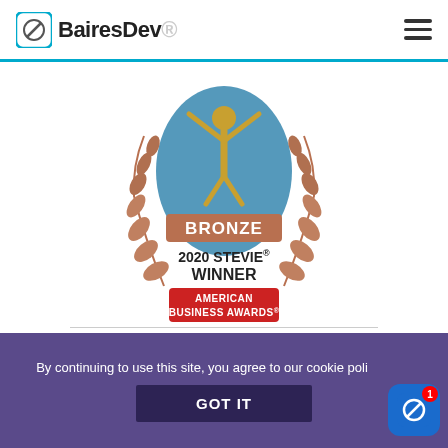BairesDev
[Figure (logo): Bronze 2020 Stevie Winner American Business Awards medal/badge with laurel wreath, blue figure with arms raised, and red banner]
By continuing to use this site, you agree to our cookie poli
GOT IT